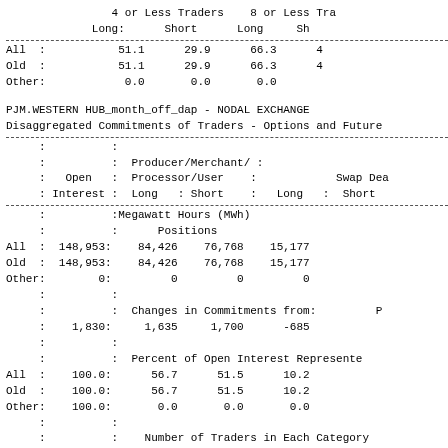|  | 4 or Less Traders Long: | 4 or Less Traders Short | 8 or Less Traders Long | 8 or Less Traders Short |
| --- | --- | --- | --- | --- |
| All | 51.1 | 29.9 | 66.3 | 4x |
| Old | 51.1 | 29.9 | 66.3 | 4x |
| Other | 0.0 | 0.0 | 0.0 |  |
PJM.WESTERN HUB_month_off_dap - NODAL EXCHANGE
Disaggregated Commitments of Traders - Options and Futures
|  | Open Interest | Producer/Merchant/Processor/User Long | Producer/Merchant/Processor/User Short | Swap Dealers Long | Swap Dealers Short |
| --- | --- | --- | --- | --- | --- |
|  |  | Megawatt Hours (MWh) |  |  |  |
|  |  | Positions |  |  |  |
| All | 148,953 | 84,426 | 76,768 | 15,177 |  |
| Old | 148,953 | 84,426 | 76,768 | 15,177 |  |
| Other | 0 | 0 | 0 | 0 |  |
|  |  | Changes in Commitments from: |  |  |  |
|  | 1,830 | 1,635 | 1,700 | -685 |  |
|  |  | Percent of Open Interest Represented |  |  |  |
| All | 100.0 | 56.7 | 51.5 | 10.2 |  |
| Old | 100.0 | 56.7 | 51.5 | 10.2 |  |
| Other | 100.0 | 0.0 | 0.0 | 0.0 |  |
|  |  | Number of Traders in Each Category |  |  |  |